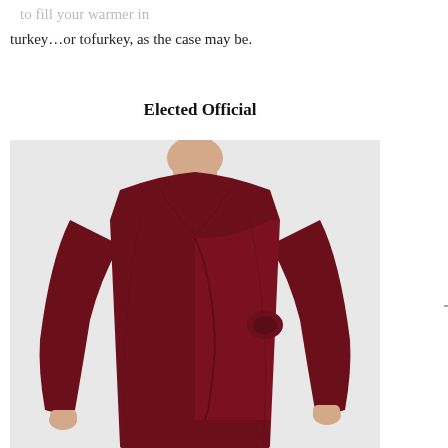to fill your warmer in turkey…or tofurkey, as the case may be.
Elected Official
[Figure (photo): A woman wearing a dark burgundy/maroon long-sleeve wrap dress with a V-neckline, photographed from shoulders to knees against a light grey background.]